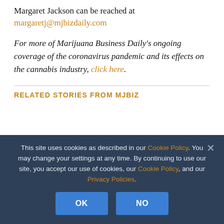Margaret Jackson can be reached at margaretj@mjbizdaily.com
For more of Marijuana Business Daily's ongoing coverage of the coronavirus pandemic and its effects on the cannabis industry, click here.
RELATED STORIES FROM MJBIZ
This site uses cookies as described in our Cookie Policy. You may change your settings at any time. By continuing to use our site, you accept our use of cookies, our Cookie Policy, and our Privacy Policies.